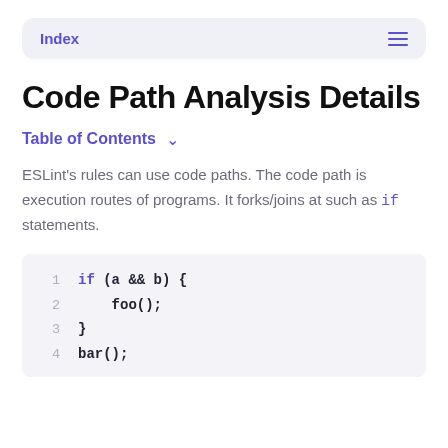Index
Code Path Analysis Details
Table of Contents
ESLint's rules can use code paths. The code path is execution routes of programs. It forks/joins at such as if statements.
1    if (a && b) {
2        foo();
3    }
4    bar();